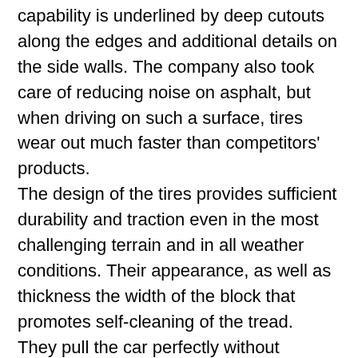capability is underlined by deep cutouts along the edges and additional details on the side walls. The company also took care of reducing noise on asphalt, but when driving on such a surface, tires wear out much faster than competitors' products. The design of the tires provides sufficient durability and traction even in the most challenging terrain and in all weather conditions. Their appearance, as well as thickness the width of the block that promotes self-cleaning of the tread. They pull the car perfectly without breaking traction and hold it in almost all directions in mud and sand. However, you should be aware that these are very heavy tires and noise may accompany you on asphalt at speeds above 80 km / h. The braking distance on the